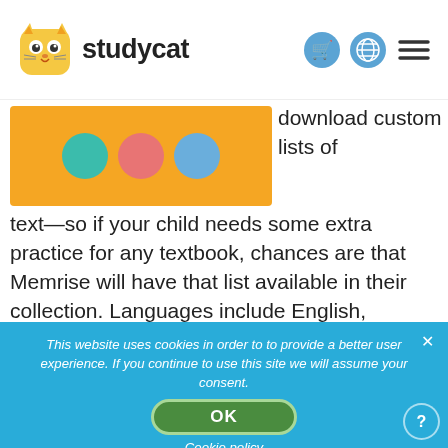studycat
[Figure (screenshot): Screenshot of a language learning app interface with colorful circles on an orange/yellow background]
download custom lists of text—so if your child needs some extra practice for any textbook, chances are that Memrise will have that list available in their collection. Languages include English, Spanish, French, German, Japanese, Italian, Russian, and many others. It's been downloaded over 50 million times
This website uses cookies in order to to provide a better user experience. If you continue to use this site we will assume your consent.
OK
Cookie policy